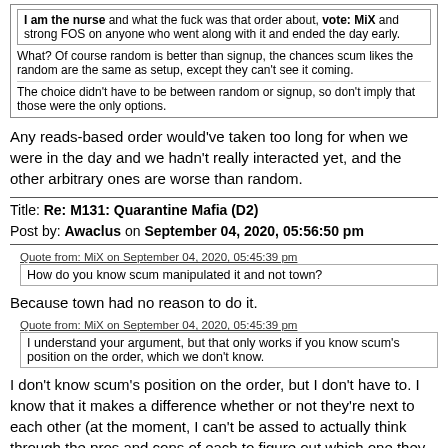I am the nurse and what the fuck was that order about, vote: MiX and strong FOS on anyone who went along with it and ended the day early.
What? Of course random is better than signup, the chances scum likes the random are the same as setup, except they can't see it coming.
The choice didn't have to be between random or signup, so don't imply that those were the only options.
Any reads-based order would've taken too long for when we were in the day and we hadn't really interacted yet, and the other arbitrary ones are worse than random.
Title: Re: M131: Quarantine Mafia (D2)
Post by: Awaclus on September 04, 2020, 05:56:50 pm
Quote from: MiX on September 04, 2020, 05:45:39 pm
How do you know scum manipulated it and not town?
Because town had no reason to do it.
Quote from: MiX on September 04, 2020, 05:45:39 pm
I understand your argument, but that only works if you know scum's position on the order, which we don't know.
I don't know scum's position on the order, but I don't have to. I know that it makes a difference whether or not they're next to each other (at the moment, I can't be assed to actually think through the pros and cons of each to figure out which one they want to be but I'm 90-93% sure they're substantially different),